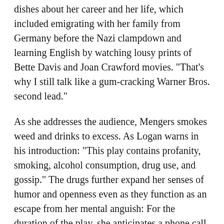dishes about her career and her life, which included emigrating with her family from Germany before the Nazi clampdown and learning English by watching lousy prints of Bette Davis and Joan Crawford movies. "That's why I still talk like a gum-cracking Warner Bros. second lead."
As she addresses the audience, Mengers smokes weed and drinks to excess. As Logan warns in his introduction: "This play contains profanity, smoking, alcohol consumption, drug use, and gossip." The drugs further expand her senses of humor and openness even as they function as an escape from her mental anguish: For the duration of the play, she anticipates a phone call from her most important client, Barbra Streisand, who recently finished a disastrous movie directed by Sue's husband. Sue wants to know if she and Babs are still simpatico, but as the call-less minutes tick by, the answer seems to lean toward "no."
When Allen sees the Broadway production in 2013 with...